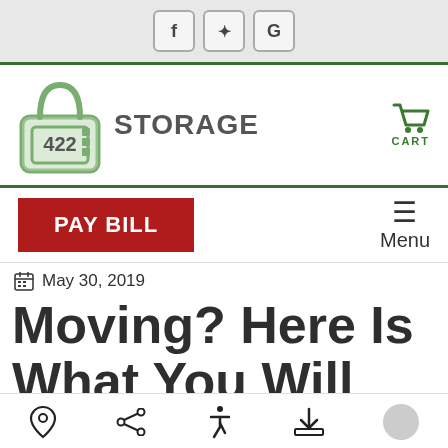f ✦ G (social icons: Facebook, Yelp, Google)
[Figure (logo): 422 Storage logo with padlock icon and shopping cart]
PAY BILL
Menu
May 30, 2019
Moving? Here Is What You Will Need